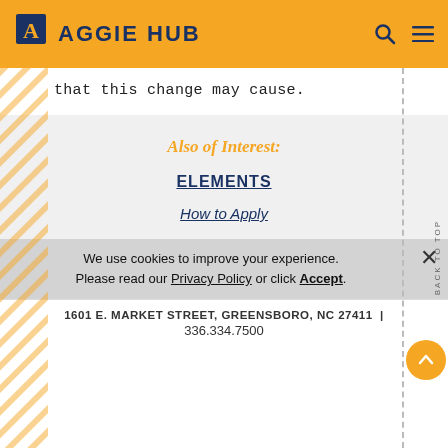AGGIE HUB
that this change may cause.
Also of Interest:
ELEMENTS
How to Apply
We use cookies to improve your experience. Please read our Privacy Policy or click Accept.
1601 E. MARKET STREET, GREENSBORO, NC 27411 | 336.334.7500